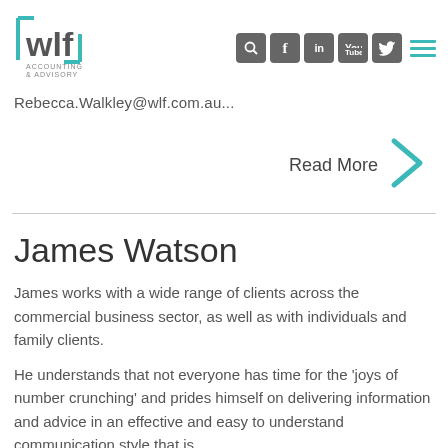[Figure (logo): WLF Accounting & Advisory logo with teal bracket and bar elements]
[Figure (infographic): Navigation icons: search, Facebook, LinkedIn, YouTube, Twitter, hamburger menu]
Rebecca.Walkley@wlf.com.au...
Read More
James Watson
James works with a wide range of clients across the commercial business sector, as well as with individuals and family clients.
He understands that not everyone has time for the 'joys of number crunching' and prides himself on delivering information and advice in an effective and easy to understand communication style that is